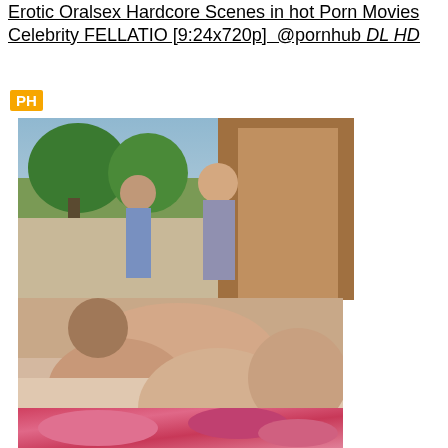Erotic Oralsex Hardcore Scenes in hot Porn Movies Celebrity FELLATIO [9:24x720p]  @pornhub DL HD
[Figure (photo): PH logo badge (orange background, white text)]
[Figure (photo): Video thumbnail 1: outdoor scene with two people]
[Figure (photo): Video thumbnail 2: intimate scene]
[Figure (photo): Video thumbnail 3: scene with pink clothing]